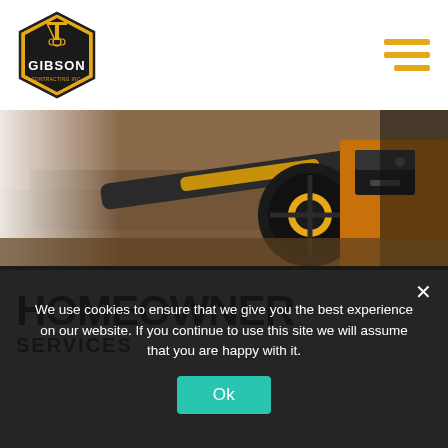[Figure (logo): Gibson contracting logo — hexagonal orange and black badge with crane icon and text GIBSON]
[Figure (photo): Close-up photo of heavy construction equipment / excavator machinery on dirt ground, orange and black tones]
HOMEOWNER
SERVICES
We use cookies to ensure that we give you the best experience on our website. If you continue to use this site we will assume that you are happy with it.